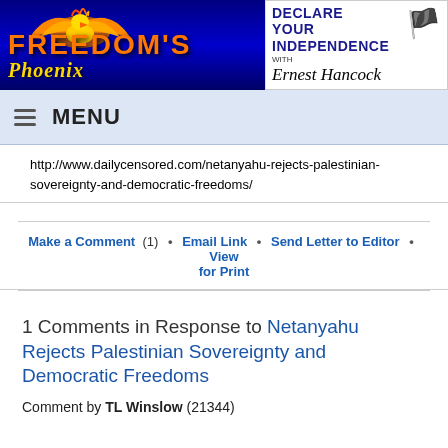[Figure (logo): Freedom's Phoenix logo with golden phoenix bird on blue background, orange and gold text reading FREEDOM'S Phoenix]
[Figure (logo): Declare Your Independence with Ernest Hancock logo, blue text with flag graphic and signature]
MENU
http://www.dailycensored.com/netanyahu-rejects-palestinian-sovereignty-and-democratic-freedoms/
Make a Comment (1) • Email Link • Send Letter to Editor • View for Print
1 Comments in Response to Netanyahu Rejects Palestinian Sovereignty and Democratic Freedoms
Comment by TL Winslow (21344)